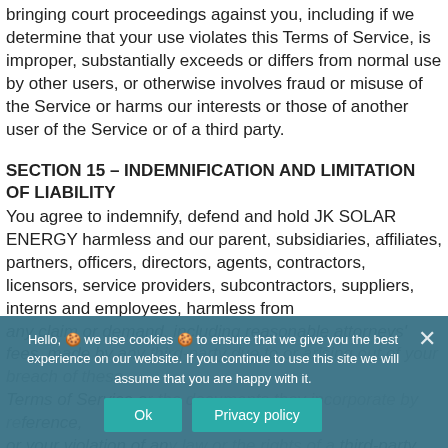bringing court proceedings against you, including if we determine that your use violates this Terms of Service, is improper, substantially exceeds or differs from normal use by other users, or otherwise involves fraud or misuse of the Service or harms our interests or those of another user of the Service or of a third party.
SECTION 15 – INDEMNIFICATION AND LIMITATION OF LIABILITY
You agree to indemnify, defend and hold JK SOLAR ENERGY harmless and our parent, subsidiaries, affiliates, partners, officers, directors, agents, contractors, licensors, service providers, subcontractors, suppliers, interns and employees, harmless from any claim or demand, including reasonable attorneys' fees, made by any third-party due to or arising out of your breach of these Terms of Service or the documents they incorporate by reference, or your violation of any law or the rights of a third-party intellectual property rights.
Hello, 🍪 we use cookies 🍪 to ensure that we give you the best experience on our website. If you continue to use this site we will assume that you are happy with it.